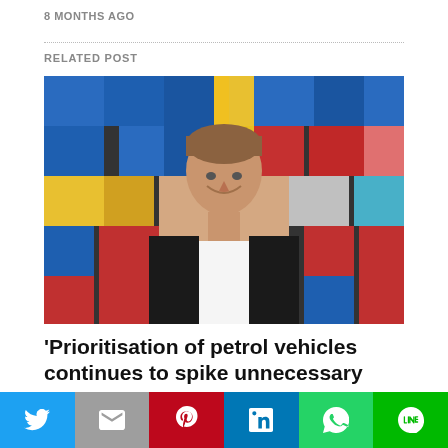8 MONTHS AGO
RELATED POST
[Figure (photo): A man in a dark jacket smiling in front of a colorful tiled background with blue, red, yellow, and other colored squares]
'Prioritisation of petrol vehicles continues to spike unnecessary cycling fatalities'
Social share bar with Twitter, Mail, Pinterest, LinkedIn, WhatsApp, LINE buttons